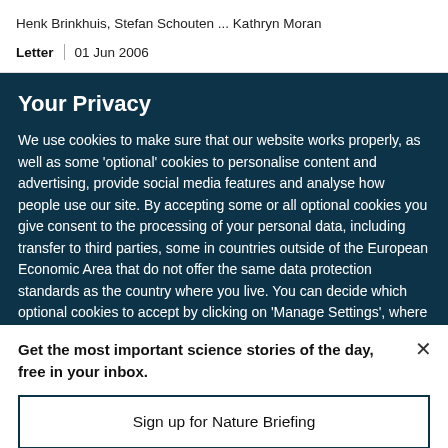Henk Brinkhuis, Stefan Schouten ... Kathryn Moran
Letter | 01 Jun 2006
Your Privacy
We use cookies to make sure that our website works properly, as well as some ‘optional’ cookies to personalise content and advertising, provide social media features and analyse how people use our site. By accepting some or all optional cookies you give consent to the processing of your personal data, including transfer to third parties, some in countries outside of the European Economic Area that do not offer the same data protection standards as the country where you live. You can decide which optional cookies to accept by clicking on ‘Manage Settings’, where you can
Get the most important science stories of the day, free in your inbox.
Sign up for Nature Briefing